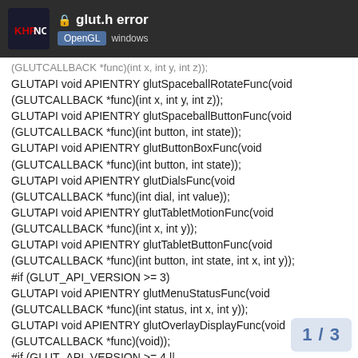glut.h error | OpenGL windows
(GLUTCALLBACK *func)(int x, int y, int z));
GLUTAPI void APIENTRY glutSpaceballRotateFunc(void (GLUTCALLBACK *func)(int x, int y, int z));
GLUTAPI void APIENTRY glutSpaceballButtonFunc(void (GLUTCALLBACK *func)(int button, int state));
GLUTAPI void APIENTRY glutButtonBoxFunc(void (GLUTCALLBACK *func)(int button, int state));
GLUTAPI void APIENTRY glutDialsFunc(void (GLUTCALLBACK *func)(int dial, int value));
GLUTAPI void APIENTRY glutTabletMotionFunc(void (GLUTCALLBACK *func)(int x, int y));
GLUTAPI void APIENTRY glutTabletButtonFunc(void (GLUTCALLBACK *func)(int button, int state, int x, int y));
#if (GLUT_API_VERSION >= 3)
GLUTAPI void APIENTRY glutMenuStatusFunc(void (GLUTCALLBACK *func)(int status, int x, int y));
GLUTAPI void APIENTRY glutOverlayDisplayFunc(void (GLUTCALLBACK *func)(void));
#if (GLUT_API_VERSION >= 4 ||
GLUT_XLIB_IMPLEMENTATION >= 9)